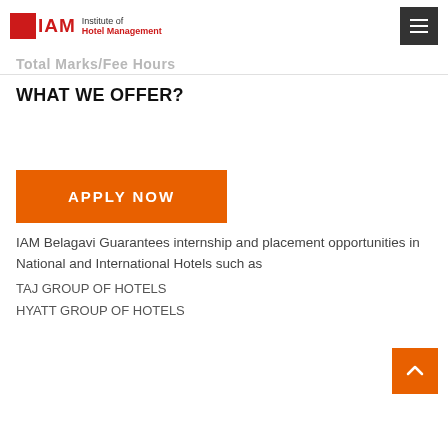Institute of Hotel Management – IAM
Total Marks/Fee Hours
WHAT WE OFFER?
[Figure (other): Empty content area / whitespace block]
APPLY NOW
IAM Belagavi Guarantees internship and placement opportunities in National and International Hotels such as
TAJ GROUP OF HOTELS
HYATT GROUP OF HOTELS